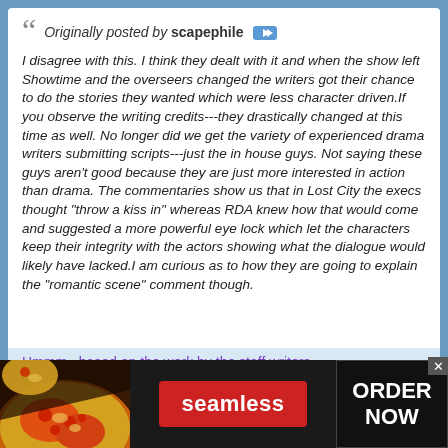Originally posted by scapephile [icon]
I disagree with this. I think they dealt with it and when the show left Showtime and the overseers changed the writers got their chance to do the stories they wanted which were less character driven.If you observe the writing credits---they drastically changed at this time as well. No longer did we get the variety of experienced drama writers submitting scripts---just the in house guys. Not saying these guys aren't good because they are just more interested in action than drama. The commentaries show us that in Lost City the execs thought "throw a kiss in" whereas RDA knew how that would come and suggested a more powerful eye lock which let the characters keep their integrity with the actors showing what the dialogue would likely have lacked.I am curious as to how they are going to explain the "romantic scene" comment though.
Hmmm.. based on the work by the staff writers
[Figure (other): Seamless food delivery advertisement banner with pizza image on left, red Seamless button in center, and ORDER NOW button on right with dark background.]